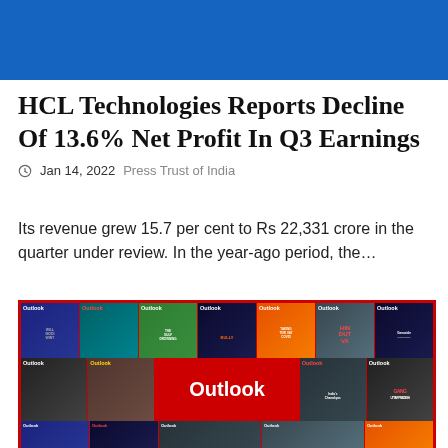[Figure (other): Blue header banner at top of page]
HCL Technologies Reports Decline Of 13.6% Net Profit In Q3 Earnings
Jan 14, 2022   Press Trust of India
Its revenue grew 15.7 per cent to Rs 22,331 crore in the quarter under review. In the year-ago period, the…
[Figure (photo): Collage of multiple Outlook magazine covers arranged in a grid with a red border. Various cover themes including political, social topics. A large central cover shows the Outlook logo on a red background.]